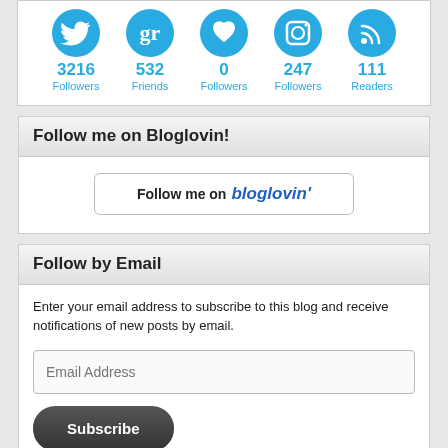[Figure (infographic): Social media follower counts with icons: Twitter 3216 Followers, Goodreads 532 Friends, Heart/Bloglovin 0 Followers, Instagram 247 Followers, RSS 111 Readers]
Follow me on Bloglovin!
[Figure (other): Follow me on bloglovin button with border]
Follow by Email
Enter your email address to subscribe to this blog and receive notifications of new posts by email.
Email Address
Subscribe